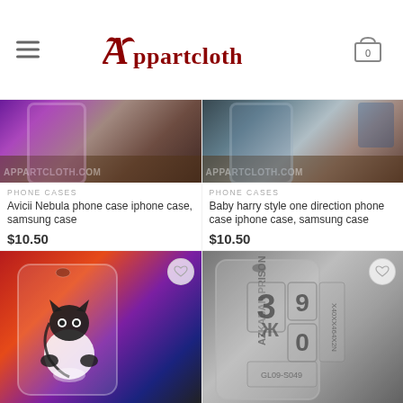Apparteloth
[Figure (photo): Phone case with nebula/purple design on wooden surface, watermark apparteloth.com]
PHONE CASES
Avicii Nebula phone case iphone case, samsung case
$10.50
[Figure (photo): Phone case with blue/dark design on wooden surface, watermark apparteloth.com]
PHONE CASES
Baby harry style one direction phone case iphone case, samsung case
$10.50
[Figure (photo): Phone case with cartoon cat under headphones on colorful galaxy background]
[Figure (photo): Phone case with Azkaban Prison design showing numbers 390]